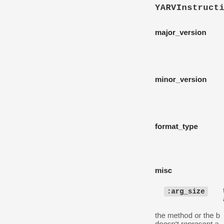YARVInstruction
major_version  The ma instru
minor_version  The mi instru
format_type  A numbe format. A
misc  A hash containin
:arg_size  the t argu the method or the b doesn't represent a
:local_size  th va
:stack_max  use